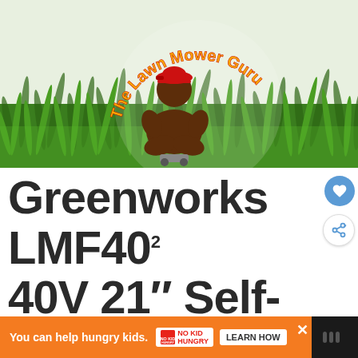[Figure (logo): The Lawn Mower Guru logo: a brown figure in a meditation pose wearing a red baseball cap, sitting in grass, with text 'The Lawn Mower Guru' in orange/yellow arc above]
Greenworks LMF402 40V 21" Self-Propelled Cordless Mower Review
[Figure (other): Orange advertisement banner: 'You can help hungry kids.' with No Kid Hungry logo and 'LEARN HOW' button]